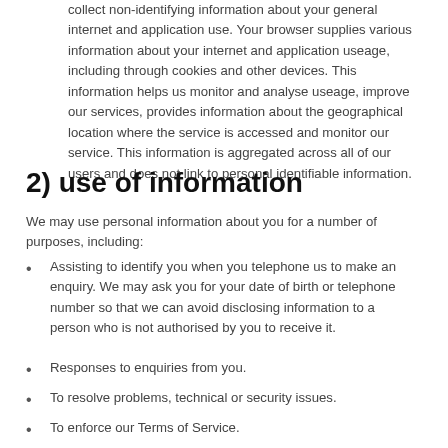collect non-identifying information about your general internet and application use. Your browser supplies various information about your internet and application useage, including through cookies and other devices. This information helps us monitor and analyse useage, improve our services, provides information about the geographical location where the service is accessed and monitor our service. This information is aggregated across all of our users and does not link to personal identifiable information.
2) use of information
We may use personal information about you for a number of purposes, including:
Assisting to identify you when you telephone us to make an enquiry. We may ask you for your date of birth or telephone number so that we can avoid disclosing information to a person who is not authorised by you to receive it.
Responses to enquiries from you.
To resolve problems, technical or security issues.
To enforce our Terms of Service.
...